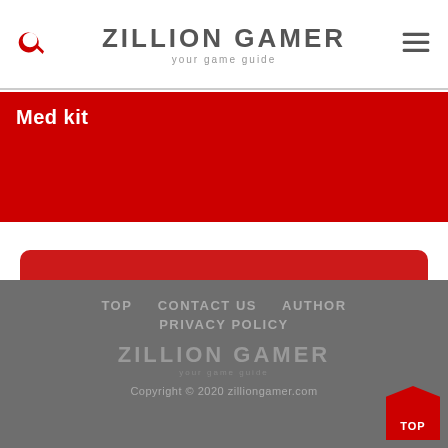ZILLION GAMER your game guide
Med kit
VIEW MORE
TOP   CONTACT US   AUTHOR   PRIVACY POLICY   ZILLION GAMER your game guide   Copyright © 2020 zilliongamer.com